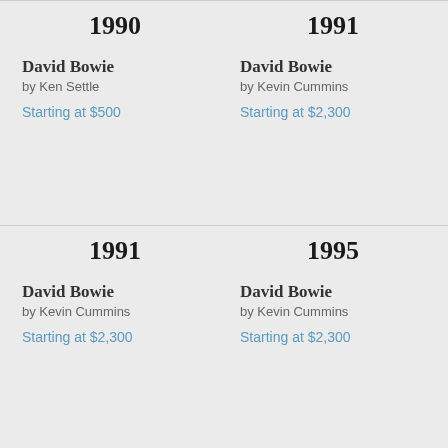1990
1991
David Bowie
by Ken Settle
Starting at $500
David Bowie
by Kevin Cummins
Starting at $2,300
1991
1995
David Bowie
by Kevin Cummins
Starting at $2,300
David Bowie
by Kevin Cummins
Starting at $2,300